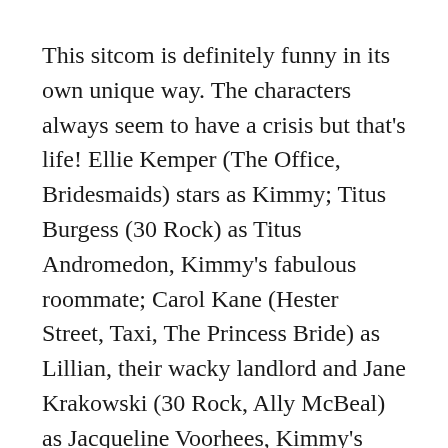This sitcom is definitely funny in its own unique way. The characters always seem to have a crisis but that's life! Ellie Kemper (The Office, Bridesmaids) stars as Kimmy; Titus Burgess (30 Rock) as Titus Andromedon, Kimmy's fabulous roommate; Carol Kane (Hester Street, Taxi, The Princess Bride) as Lillian, their wacky landlord and Jane Krakowski (30 Rock, Ally McBeal) as Jacqueline Voorhees, Kimmy's self-centred boss.
This show is great if you are looking for something different and fun to binge watch as there are currently 3 seasons on Netflix. Also nominated for 16 Primetime Emmys and 4 SAG awards. The show is written by Tina Fey for...